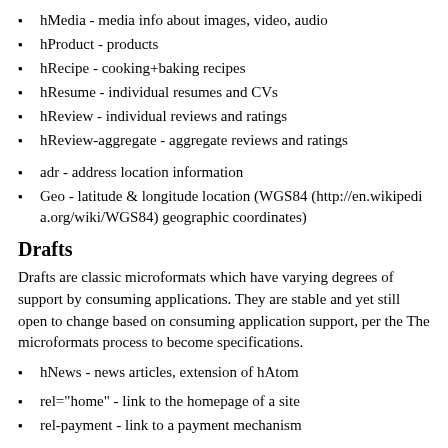hMedia - media info about images, video, audio
hProduct - products
hRecipe - cooking+baking recipes
hResume - individual resumes and CVs
hReview - individual reviews and ratings
hReview-aggregate - aggregate reviews and ratings
adr - address location information
Geo - latitude & longitude location (WGS84 (http://en.wikipedia.org/wiki/WGS84) geographic coordinates)
Drafts
Drafts are classic microformats which have varying degrees of support by consuming applications. They are stable and yet still open to change based on consuming application support, per the The microformats process to become specifications.
hNews - news articles, extension of hAtom
rel="home" - link to the homepage of a site
rel-payment - link to a payment mechanism
XMDP - define a microformat vocabulary / profile
XOXO - outlines